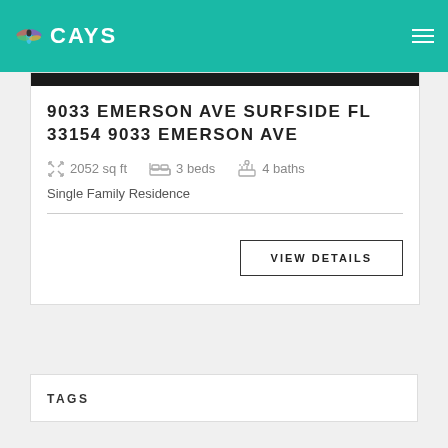CAYS
$2,500,000.00
9033 EMERSON AVE SURFSIDE FL 33154 9033 EMERSON AVE
2052 sq ft  3 beds  4 baths
Single Family Residence
VIEW DETAILS
TAGS